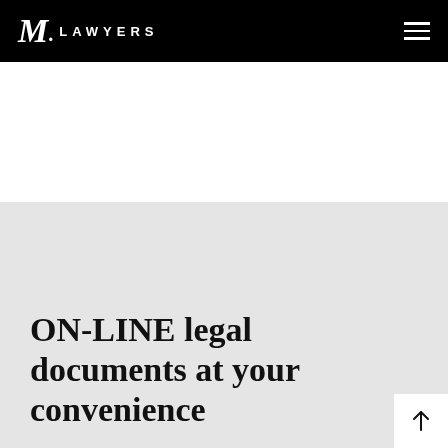JM. LAWYERS
ON-LINE legal documents at your convenience